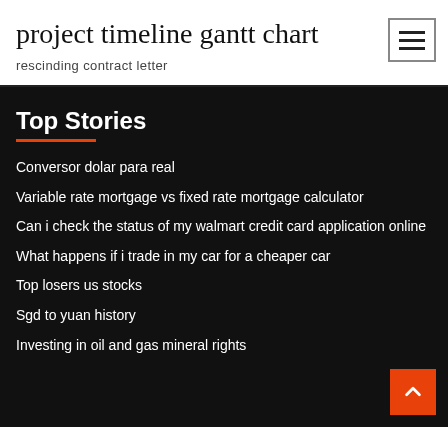project timeline gantt chart
rescinding contract letter
Top Stories
Conversor dolar para real
Variable rate mortgage vs fixed rate mortgage calculator
Can i check the status of my walmart credit card application online
What happens if i trade in my car for a cheaper car
Top losers us stocks
Sgd to yuan history
Investing in oil and gas mineral rights